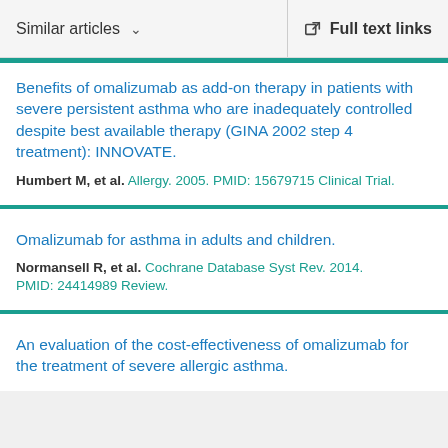Similar articles   Full text links
Benefits of omalizumab as add-on therapy in patients with severe persistent asthma who are inadequately controlled despite best available therapy (GINA 2002 step 4 treatment): INNOVATE.
Humbert M, et al. Allergy. 2005. PMID: 15679715 Clinical Trial.
Omalizumab for asthma in adults and children.
Normansell R, et al. Cochrane Database Syst Rev. 2014. PMID: 24414989 Review.
An evaluation of the cost-effectiveness of omalizumab for the treatment of severe allergic asthma.